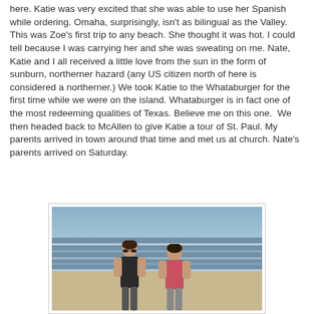here. Katie was very excited that she was able to use her Spanish while ordering. Omaha, surprisingly, isn't as bilingual as the Valley. This was Zoe's first trip to any beach. She thought it was hot. I could tell because I was carrying her and she was sweating on me. Nate, Katie and I all received a little love from the sun in the form of sunburn, northerner hazard (any US citizen north of here is considered a northerner.) We took Katie to the Whataburger for the first time while we were on the island. Whataburger is in fact one of the most redeeming qualities of Texas. Believe me on this one.  We then headed back to McAllen to give Katie a tour of St. Paul. My parents arrived in town around that time and met us at church. Nate's parents arrived on Saturday.
[Figure (photo): Two women standing on a beach with ocean waves in the background on a sunny day.]